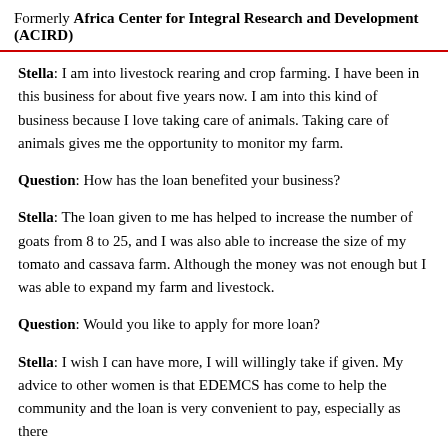Formerly Africa Center for Integral Research and Development (ACIRD)
Stella: I am into livestock rearing and crop farming. I have been in this business for about five years now. I am into this kind of business because I love taking care of animals. Taking care of animals gives me the opportunity to monitor my farm.
Question: How has the loan benefited your business?
Stella: The loan given to me has helped to increase the number of goats from 8 to 25, and I was also able to increase the size of my tomato and cassava farm. Although the money was not enough but I was able to expand my farm and livestock.
Question: Would you like to apply for more loan?
Stella: I wish I can have more, I will willingly take if given. My advice to other women is that EDEMCS has come to help the community and the loan is very convenient to pay, especially as there